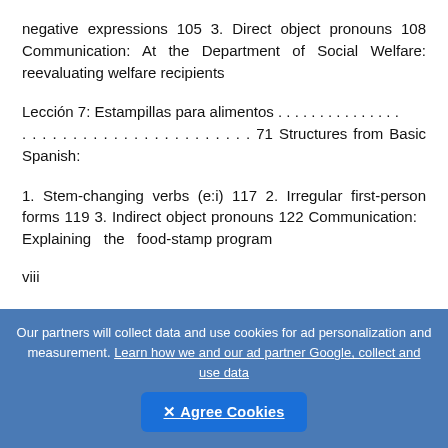negative expressions 105 3. Direct object pronouns 108 Communication: At the Department of Social Welfare: reevaluating welfare recipients
Lección 7: Estampillas para alimentos . . . . . . . . . . . . . . . . . . . . . . . . . . . . . . . . . . 71 Structures from Basic Spanish:
1. Stem-changing verbs (e:i) 117 2. Irregular first-person forms 119 3. Indirect object pronouns 122 Communication: Explaining the food-stamp program
viii